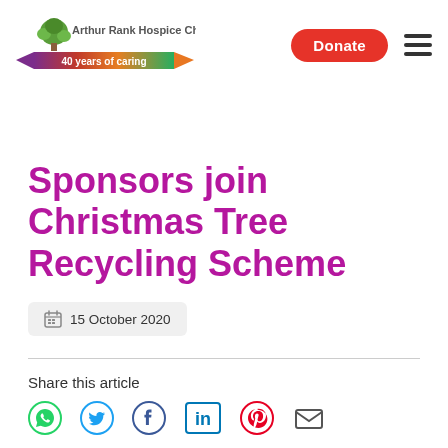[Figure (logo): Arthur Rank Hospice Charity logo with tree and '40 years of caring' banner]
Donate
Sponsors join Christmas Tree Recycling Scheme
15 October 2020
Share this article